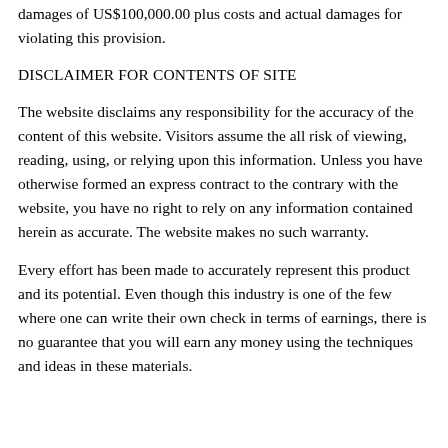damages of US$100,000.00 plus costs and actual damages for violating this provision.
DISCLAIMER FOR CONTENTS OF SITE
The website disclaims any responsibility for the accuracy of the content of this website. Visitors assume the all risk of viewing, reading, using, or relying upon this information. Unless you have otherwise formed an express contract to the contrary with the website, you have no right to rely on any information contained herein as accurate. The website makes no such warranty.
Every effort has been made to accurately represent this product and its potential. Even though this industry is one of the few where one can write their own check in terms of earnings, there is no guarantee that you will earn any money using the techniques and ideas in these materials.